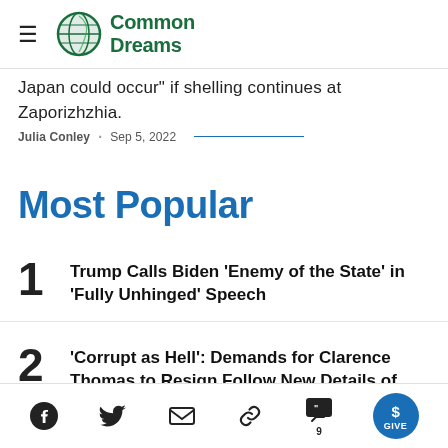[Figure (logo): Common Dreams logo with globe icon and green bold text]
Japan could occur" if shelling continues at Zaporizhzhia.
Julia Conley · Sep 5, 2022
Most Popular
1 Trump Calls Biden 'Enemy of the State' in 'Fully Unhinged' Speech
2 'Corrupt as Hell': Demands for Clarence Thomas to Resign Follow New Details of Wife's Election Scheming
Facebook, Twitter, Email, Link, Comments (9), GIVE